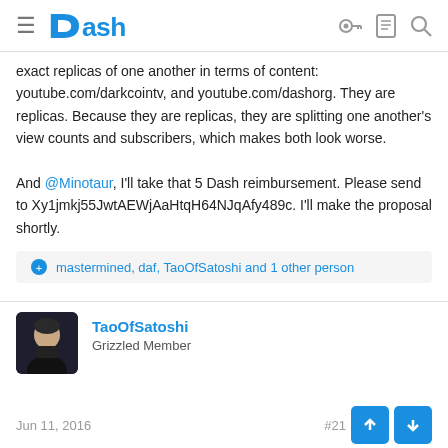Dash
exact replicas of one another in terms of content: youtube.com/darkcointv, and youtube.com/dashorg. They are replicas. Because they are replicas, they are splitting one another's view counts and subscribers, which makes both look worse.

And @Minotaur, I'll take that 5 Dash reimbursement. Please send to Xy1jmkj55JwtAEWjAaHtqH64NJqAfy489c. I'll make the proposal shortly.
mastermined, daf, TaoOfSatoshi and 1 other person
TaoOfSatoshi
Grizzled Member
Jun 11, 2016
#21